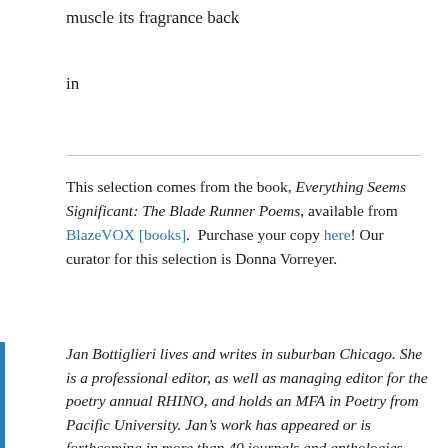muscle its fragrance back
in
This selection comes from the book, Everything Seems Significant: The Blade Runner Poems, available from BlazeVOX [books].  Purchase your copy here! Our curator for this selection is Donna Vorreyer.
Jan Bottiglieri lives and writes in suburban Chicago. She is a professional editor, as well as managing editor for the poetry annual RHINO, and holds an MFA in Poetry from Pacific University. Jan’s work has appeared or is forthcoming in more than 40 journals and anthologies including december, Rattle, DIAGRAM, Willow Springs and New Poetry from the Midwest. Jan is the author of two chapbooks, “A Place Beyond Luck” and “Where